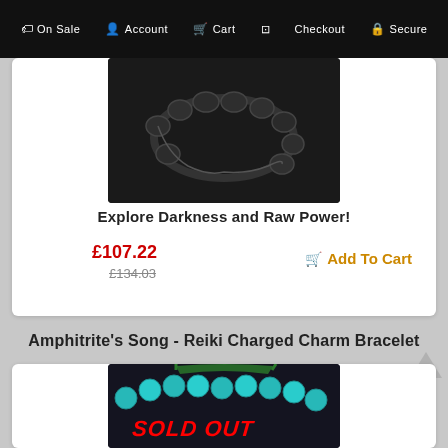On Sale  Account  Cart  Checkout  Secure
[Figure (photo): Dark black beaded bracelet on dark background]
Explore Darkness and Raw Power!
£107.22
£134.03
Add To Cart
Amphitrite's Song - Reiki Charged Charm Bracelet
[Figure (photo): Teal/turquoise beaded bracelet on dark background with SOLD OUT text overlay]